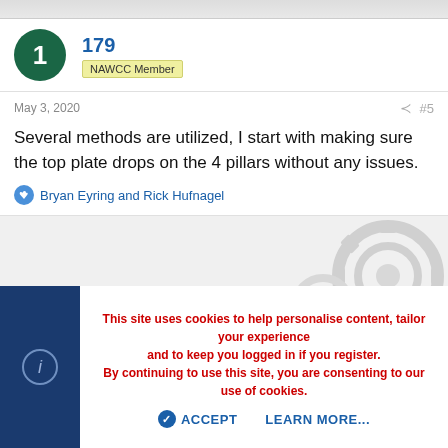[Figure (screenshot): Top decorative bar with light pattern]
179
NAWCC Member
May 3, 2020
#5
Several methods are utilized, I start with making sure the top plate drops on the 4 pillars without any issues.
Bryan Eyring and Rick Hufnagel
[Figure (illustration): Watermark/background area with gears illustration in light gray]
This site uses cookies to help personalise content, tailor your experience and to keep you logged in if you register. By continuing to use this site, you are consenting to our use of cookies.
ACCEPT
LEARN MORE...